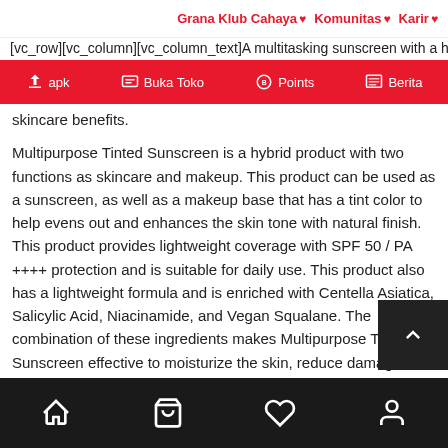Grana Klub Cahaya  Komunitas  Karir
[vc_row][vc_column][vc_column_text]A multitasking sunscreen with a hint skincare benefits.
[Figure (screenshot): Red toolbar with icons: apk, Buka Toko, Points, Berita]
skincare benefits.
Multipurpose Tinted Sunscreen is a hybrid product with two functions as skincare and makeup. This product can be used as a sunscreen, as well as a makeup base that has a tint color to help evens out and enhances the skin tone with natural finish. This product provides lightweight coverage with SPF 50 / PA ++++ protection and is suitable for daily use. This product also has a lightweight formula and is enriched with Centella Asiatica, Salicylic Acid, Niacinamide, and Vegan Squalane. The combination of these ingredients makes Multipurpose Tinted Sunscreen effective to moisturize the skin, reduce damage caused by the sun, help to treat acne skin, lighten the skin and keep the skin smooth and hydrated without leaving feeling greasy.
Bottom navigation: Home, Cart, Wishlist, Account